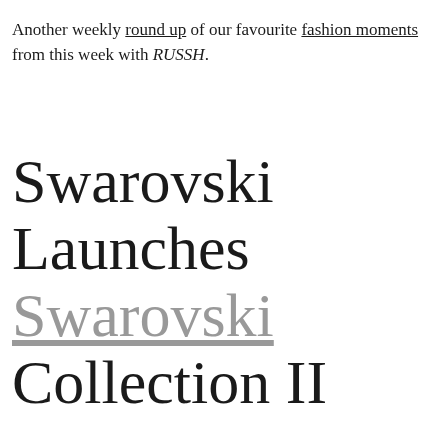Another weekly round up of our favourite fashion moments from this week with RUSSH.
Swarovski Launches Swarovski Collection II